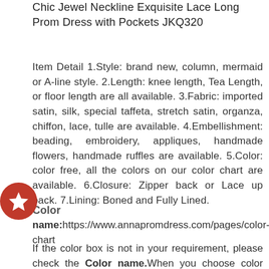Chic Jewel Neckline Exquisite Lace Long Prom Dress with Pockets JKQ320
Item Detail 1.Style: brand new, column, mermaid or A-line style. 2.Length: knee length, Tea Length, or floor length are all available. 3.Fabric: imported satin, silk, special taffeta, stretch satin, organza, chiffon, lace, tulle are available. 4.Embellishment: beading, embroidery, appliques, handmade flowers, handmade ruffles are available. 5.Color: color free, all the colors on our color chart are available. 6.Closure: Zipper back or Lace up back. 7.Lining: Boned and Fully Lined.
Color
name:https://www.annapromdress.com/pages/color-chart
If the color box is not in your requirement, please check the Color name.When you choose color name, please leave us a message that which color that you